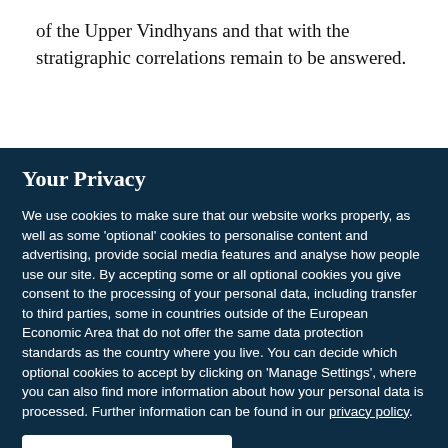of the Upper Vindhyans and that with the stratigraphic correlations remain to be answered.
Your Privacy
We use cookies to make sure that our website works properly, as well as some 'optional' cookies to personalise content and advertising, provide social media features and analyse how people use our site. By accepting some or all optional cookies you give consent to the processing of your personal data, including transfer to third parties, some in countries outside of the European Economic Area that do not offer the same data protection standards as the country where you live. You can decide which optional cookies to accept by clicking on 'Manage Settings', where you can also find more information about how your personal data is processed. Further information can be found in our privacy policy.
Accept all cookies
Manage preferences